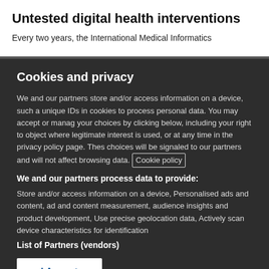Untested digital health interventions
Every two years, the International Medical Informatics
Cookies and privacy
We and our partners store and/or access information on a device, such as unique IDs in cookies to process personal data. You may accept or manage your choices by clicking below, including your right to object where legitimate interest is used, or at any time in the privacy policy page. These choices will be signaled to our partners and will not affect browsing data. Cookie policy
We and our partners process data to provide:
Store and/or access information on a device, Personalised ads and content, ad and content measurement, audience insights and product development, Use precise geolocation data, Actively scan device characteristics for identification
List of Partners (vendors)
I Accept